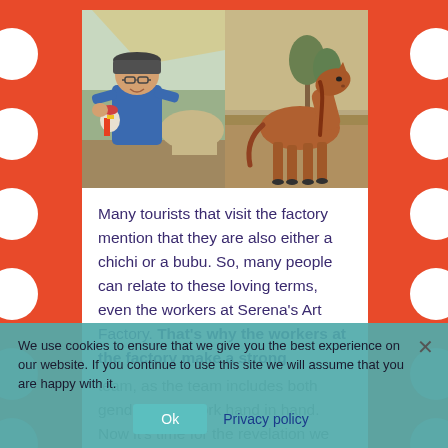[Figure (photo): Left half: Man in blue t-shirt and cap holding a colorful toy/doll, standing near horses under a shade structure. Right half: A chestnut brown foal/young horse standing in a dry, arid outdoor setting.]
Many tourists that visit the factory mention that they are also either a chichi or a bubu. So, many people can relate to these loving terms, even the workers at Serena's Art Factory. That's why the workers at the factory make a strong team, as the team includes both genders that work hand in hand. Now it's time for the revelation we have all been waiting for... the pets and the workers at Serena's Art Factory are dying to know if you are a
We use cookies to ensure that we give you the best experience on our website. If you continue to use this site we will assume that you are happy with it.